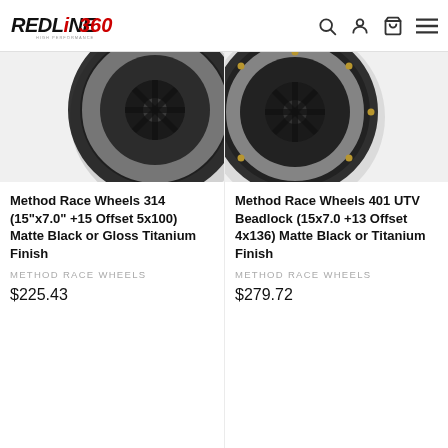REDLINE360 HIGH PERFORMANCE
[Figure (photo): Partial view of a dark/matte black Method Race Wheels 314 wheel]
Method Race Wheels 314 (15"x7.0" +15 Offset 5x100) Matte Black or Gloss Titanium Finish
METHOD RACE WHEELS
$225.43
[Figure (photo): Partial view of a black Method Race Wheels 401 UTV Beadlock wheel with gold bolts]
Method Race Wheels 401 UTV Beadlock (15x7.0 +13 Offset 4x136) Matte Black or Titanium Finish
METHOD RACE WHEELS
$279.72